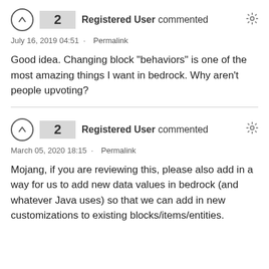2  Registered User commented  July 16, 2019 04:51 · Permalink  Good idea. Changing block "behaviors" is one of the most amazing things I want in bedrock. Why aren't people upvoting?
2  Registered User commented  March 05, 2020 18:15 · Permalink  Mojang, if you are reviewing this, please also add in a way for us to add new data values in bedrock (and whatever Java uses) so that we can add in new customizations to existing blocks/items/entities.